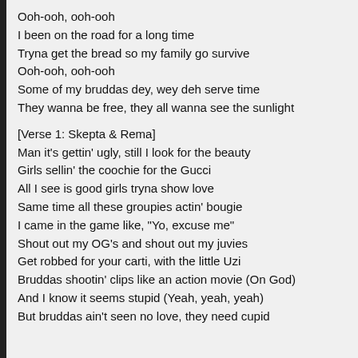Ooh-ooh, ooh-ooh
I been on the road for a long time
Tryna get the bread so my family go survive
Ooh-ooh, ooh-ooh
Some of my bruddas dey, wey deh serve time
They wanna be free, they all wanna see the sunlight

[Verse 1: Skepta & Rema]
Man it's gettin' ugly, still I look for the beauty
Girls sellin' the coochie for the Gucci
All I see is good girls tryna show love
Same time all these groupies actin' bougie
I came in the game like, "Yo, excuse me"
Shout out my OG's and shout out my juvies
Get robbed for your carti, with the little Uzi
Bruddas shootin' clips like an action movie (On God)
And I know it seems stupid (Yeah, yeah, yeah)
But bruddas ain't seen no love, they need cupid